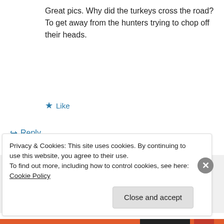Great pics. Why did the turkeys cross the road? To get away from the hunters trying to chop off their heads.
★ Like
↪ Reply
shelldigger on May 23, 2016 at 3:46 pm
Mmmm, turkey 🙂
Privacy & Cookies: This site uses cookies. By continuing to use this website, you agree to their use.
To find out more, including how to control cookies, see here: Cookie Policy
Close and accept